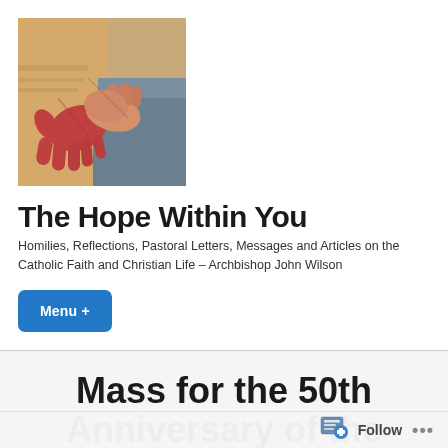[Figure (illustration): A painting-style illustration showing hands clasped together, with warm tones of tan, red, and blue-grey clothing visible. Appears to be a detail from a religious artwork showing holding hands.]
The Hope Within You
Homilies, Reflections, Pastoral Letters, Messages and Articles on the Catholic Faith and Christian Life – Archbishop John Wilson
Menu +
Mass for the 50th Anniversary of the